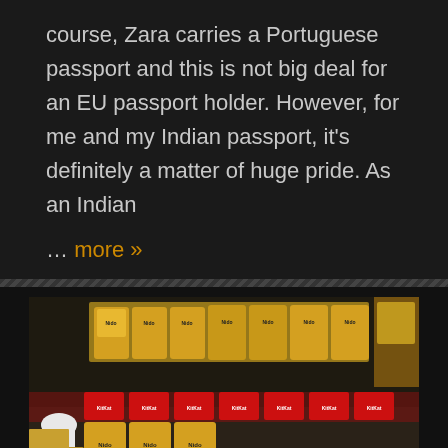course, Zara carries a Portuguese passport and this is not big deal for an EU passport holder. However, for me and my Indian passport, it's definitely a matter of huge pride. As an Indian
… more »
[Figure (photo): Interior of a duty-free or convenience store showing shelves stocked with large yellow bags of Nido milk powder, red KitKat multipacks, and various other snack products. A person in a white shirt is bending over near some cardboard boxes in the foreground.]